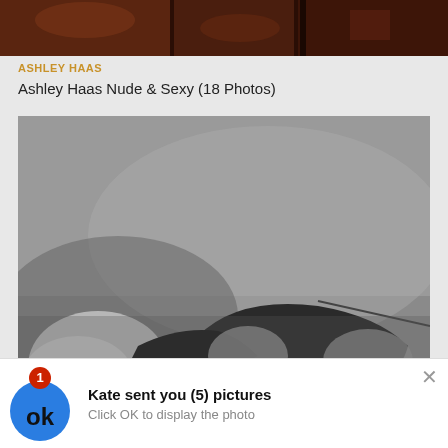[Figure (photo): Cropped top portion of a dark reddish-brown photo, partially visible at top of page]
ASHLEY HAAS
Ashley Haas Nude & Sexy (18 Photos)
[Figure (photo): Black and white photo of a person viewed from behind/above, against a grey background, with a notification popup at the bottom]
Kate sent you (5) pictures
Click OK to display the photo